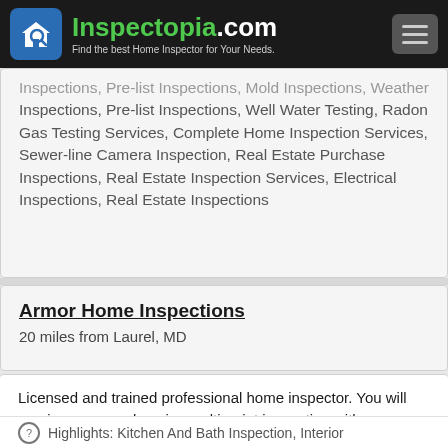Inspectopia.com — Find the best Home Inspector for Your Needs.
Inspections, Pre-list Inspections, Well Water Testing, Radon Gas Testing Services, Complete Home Inspection Services, Sewer-line Camera Inspection, Real Estate Purchase Inspections, Real Estate Inspection Services, Electrical Inspections, Real Estate Inspections
Armor Home Inspections
20 miles from Laurel, MD
Licensed and trained professional home inspector. You will receive a comprehensive multi-point inspection with an easy to read report.
Highlights: Kitchen And Bath Inspection, Interior